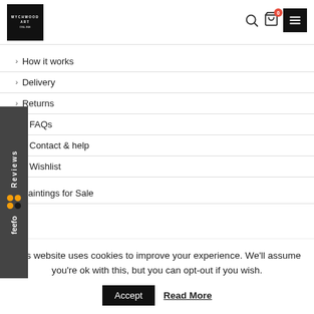[Figure (logo): Wychwood Art logo — white text on black square background]
> How it works
> Delivery
> Returns
FAQs
Contact & help
Wishlist
> Paintings for Sale
This website uses cookies to improve your experience. We'll assume you're ok with this, but you can opt-out if you wish.
Accept   Read More